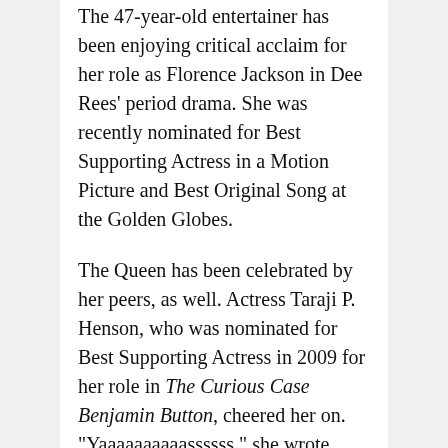The 47-year-old entertainer has been enjoying critical acclaim for her role as Florence Jackson in Dee Rees' period drama. She was recently nominated for Best Supporting Actress in a Motion Picture and Best Original Song at the Golden Globes.
The Queen has been celebrated by her peers, as well. Actress Taraji P. Henson, who was nominated for Best Supporting Actress in 2009 for her role in The Curious Case Benjamin Button, cheered her on. "Yaaaaaaaaaassssss," she wrote. "THE #GLOWUP CONTINUES!!!!"
Angie Martinez also rejoiced over the news. "MARY J BLIGE is a DOUBLE OSCAR NOMINEE!!!!!!!!!!!!!!!" she gushed. "My heart